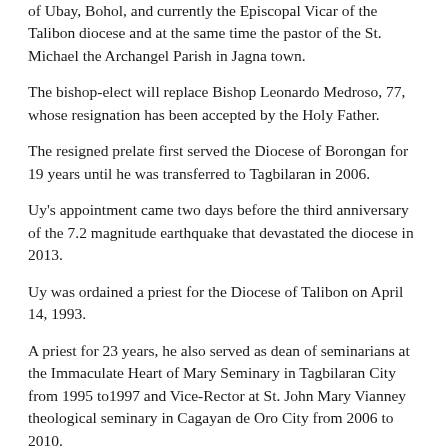of Ubay, Bohol, and currently the Episcopal Vicar of the Talibon diocese and at the same time the pastor of the St. Michael the Archangel Parish in Jagna town.
The bishop-elect will replace Bishop Leonardo Medroso, 77, whose resignation has been accepted by the Holy Father.
The resigned prelate first served the Diocese of Borongan for 19 years until he was transferred to Tagbilaran in 2006.
Uy's appointment came two days before the third anniversary of the 7.2 magnitude earthquake that devastated the diocese in 2013.
Uy was ordained a priest for the Diocese of Talibon on April 14, 1993.
A priest for 23 years, he also served as dean of seminarians at the Immaculate Heart of Mary Seminary in Tagbilaran City from 1995 to1997 and Vice-Rector at St. John Mary Vianney theological seminary in Cagayan de Oro City from 2006 to 2010.